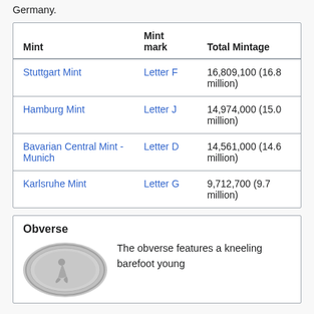Germany.
| Mint | Mint mark | Total Mintage |
| --- | --- | --- |
| Stuttgart Mint | Letter F | 16,809,100 (16.8 million) |
| Hamburg Mint | Letter J | 14,974,000 (15.0 million) |
| Bavarian Central Mint - Munich | Letter D | 14,561,000 (14.6 million) |
| Karlsruhe Mint | Letter G | 9,712,700 (9.7 million) |
Obverse
[Figure (photo): A silver coin (obverse side) partially visible, circular, with a kneeling figure]
The obverse features a kneeling barefoot young